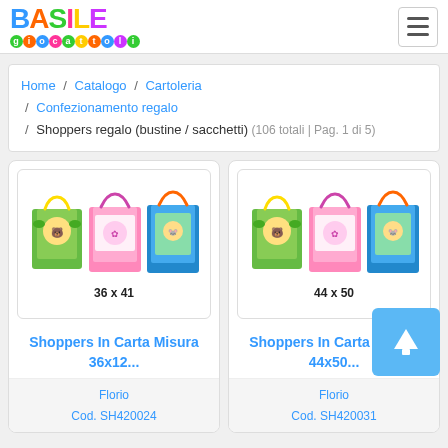BASILE giocattoli
Home / Catalogo / Cartoleria / Confezionamento regalo / Shoppers regalo (bustine / sacchetti) (106 totali | Pag. 1 di 5)
[Figure (photo): Three colorful paper gift shopping bags with Disney character designs, labeled 36 x 41]
Shoppers In Carta Misura 36x12...
Florio
Cod. SH420024
[Figure (photo): Three colorful paper gift shopping bags with Disney character designs, labeled 44 x 50]
Shoppers In Carta Misura 44x50...
Florio
Cod. SH420031